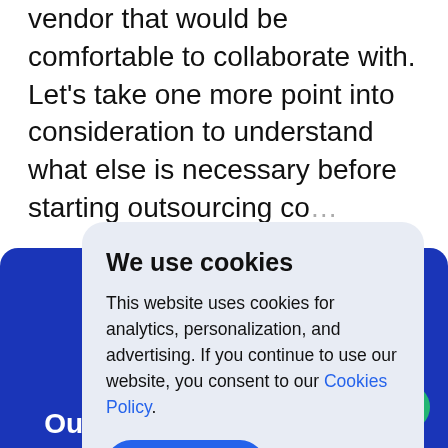vendor that would be comfortable to collaborate with. Let’s take one more point into consideration to understand what else is necessary before starting outsourcing co…
[Figure (screenshot): Blue decorative section at the bottom of the webpage with text 'Our specialists will eagerly' and a green chat bubble icon in the bottom right corner.]
We use cookies
This website uses cookies for analytics, personalization, and advertising. If you continue to use our website, you consent to our Cookies Policy.
Accept
Our specialists will eagerly